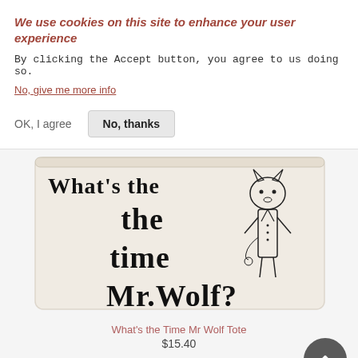We use cookies on this site to enhance your user experience
By clicking the Accept button, you agree to us doing so.
No, give me more info
OK, I agree   No, thanks
[Figure (photo): A tote bag with text 'What's the time Mr.Wolf?' and an illustration of a wolf in a suit]
What's the Time Mr Wolf Tote
$15.40
+ ADD TO CART